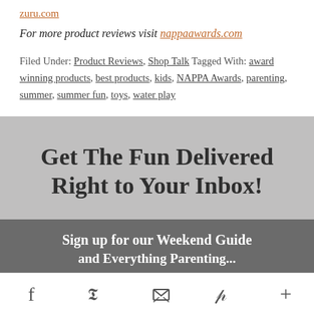zuru.com
For more product reviews visit nappaawards.com
Filed Under: Product Reviews, Shop Talk Tagged With: award winning products, best products, kids, NAPPA Awards, parenting, summer, summer fun, toys, water play
Get The Fun Delivered Right to Your Inbox!
Sign up for our Weekend Guide and Everything Parenting...
Social share icons: Facebook, Twitter, Email, Pinterest, More